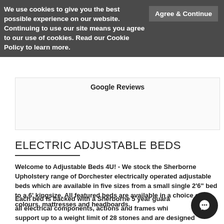We use cookies to give you the best possible experience on our website. Continuing to use our site means you agree to our use of cookies. Read our Cookie Policy to learn more.
Agree & Continue
Google Reviews
ELECTRIC ADJUSTABLE BEDS
Welcome to Adjustable Beds 4U! - We stock the Sherborne Upholstery range of Dorchester electrically operated adjustable beds which are available in five sizes from a small single 2'6" bed to a 6' kingsize. All featured beds are available in a choice of colours, mattresses and headboards.
Each bed is backed with a Sherborne 5 year guarantee covering all electrical components, actions and frames which can support up to a weight limit of 28 stones and are designed